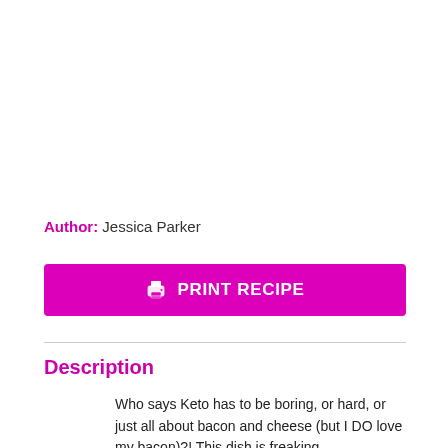Author: Jessica Parker
[Figure (other): Magenta PRINT RECIPE button with printer icon]
Description
Who says Keto has to be boring, or hard, or just all about bacon and cheese (but I DO love my bacon)?! This dish is freaking DELICIOUS!! This is